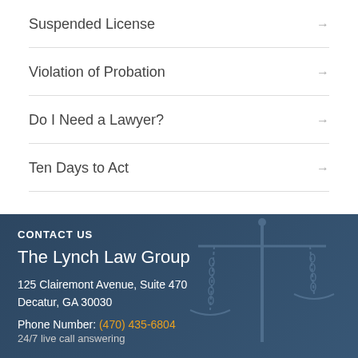Suspended License →
Violation of Probation →
Do I Need a Lawyer? →
Ten Days to Act →
CONTACT US
The Lynch Law Group
125 Clairemont Avenue, Suite 470
Decatur, GA 30030
Phone Number: (470) 435-6804
24/7 live call answering